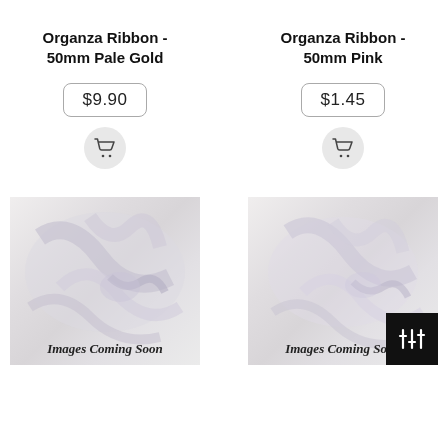Organza Ribbon - 50mm Pale Gold
$9.90
[Figure (illustration): Shopping cart icon in a light gray circle]
[Figure (photo): Product placeholder image showing organza ribbon with text 'Images Coming Soon']
Organza Ribbon - 50mm Pink
$1.45
[Figure (illustration): Shopping cart icon in a light gray circle]
[Figure (photo): Product placeholder image showing organza ribbon with text 'Images Coming Soon']